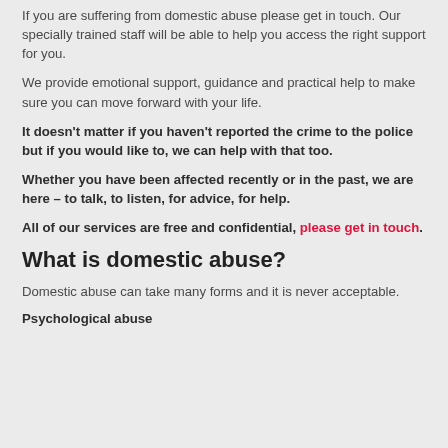If you are suffering from domestic abuse please get in touch. Our specially trained staff will be able to help you access the right support for you.
We provide emotional support, guidance and practical help to make sure you can move forward with your life.
It doesn't matter if you haven't reported the crime to the police but if you would like to, we can help with that too.
Whether you have been affected recently or in the past, we are here – to talk, to listen, for advice, for help.
All of our services are free and confidential, please get in touch.
What is domestic abuse?
Domestic abuse can take many forms and it is never acceptable.
Psychological abuse